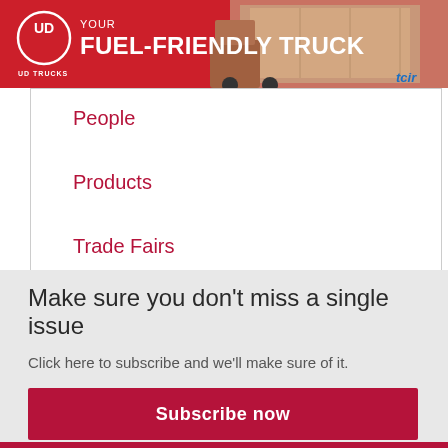[Figure (other): UD Trucks banner advertisement with red background, UD Trucks circular logo, text 'YOUR FUEL-FRIENDLY TRUCK', truck image on right side, TCIR logo]
People
Products
Trade Fairs
Tyres
Make sure you don't miss a single issue
Click here to subscribe and we'll make sure of it.
Subscribe now